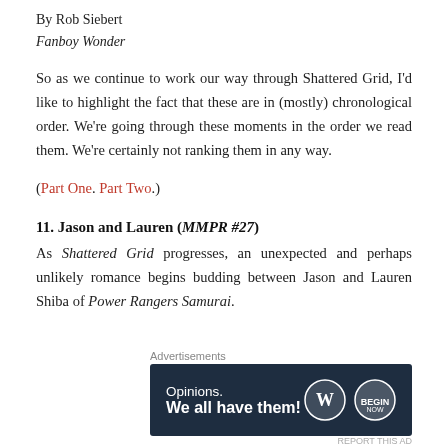By Rob Siebert
Fanboy Wonder
So as we continue to work our way through Shattered Grid, I’d like to highlight the fact that these are in (mostly) chronological order. We’re going through these moments in the order we read them. We’re certainly not ranking them in any way.
(Part One. Part Two.)
11. Jason and Lauren (MMPR #27)
As Shattered Grid progresses, an unexpected and perhaps unlikely romance begins budding between Jason and Lauren Shiba of Power Rangers Samurai.
Advertisements
[Figure (other): WordPress advertisement banner: dark navy background with text 'Opinions. We all have them!' and WordPress and blog logos on the right. Close button (circled X) on right side.]